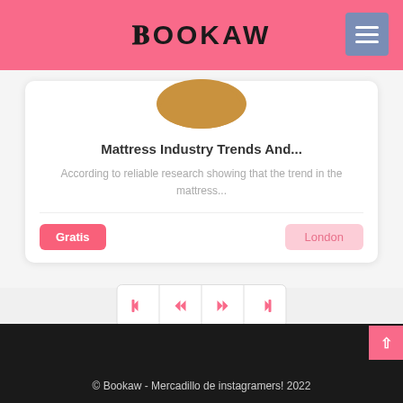BOOKAW
[Figure (other): Circular avatar placeholder with tan/brown background color, partially cropped at top]
Mattress Industry Trends And...
According to reliable research showing that the trend in the mattress...
Gratis
London
[Figure (other): Pagination navigation bar with four buttons: skip to start, rewind, fast forward, skip to end icons in pink on white background with border]
© Bookaw - Mercadillo de instagramers! 2022